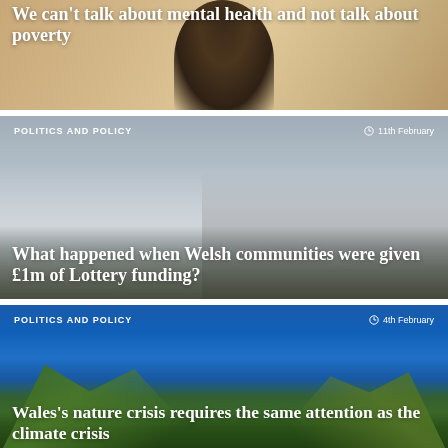[Figure (photo): Article card with photo background showing partial person silhouette on warm tan background]
We can't talk about mental health and not talk about poverty
[Figure (photo): Article card with photo of bare winter trees against grey sky with a person in the background]
POLITICS AND POLICY
11th February
What happened when Welsh communities were given £1m of Lottery funding?
[Figure (photo): Article card with photo of green plants/crops against blue sky]
POLITICS AND POLICY
4th February
Wales's nature crisis requires the same attention as the climate crisis